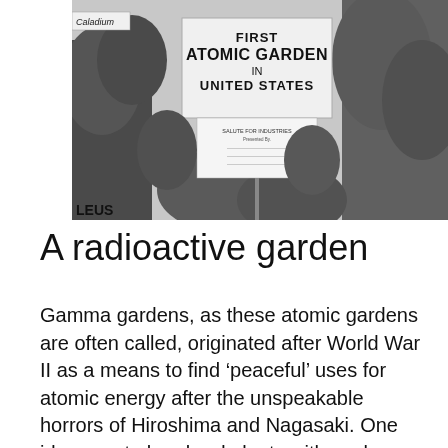[Figure (photo): Black and white photograph of a garden display with plants and a sign reading 'FIRST ATOMIC GARDEN IN UNITED STATES'. Additional smaller sign beneath it. Partial text 'Caladium' visible on a label on the left, and 'LEUS' visible at the bottom left.]
A radioactive garden
Gamma gardens, as these atomic gardens are often called, originated after World War II as a means to find ‘peaceful’ uses for atomic energy after the unspeakable horrors of Hiroshima and Nagasaki. One idea was to bombard plants with nuclear radiation and produce lots of mutations, some of which, researchers hoped, would be useful. For instance, the hope was that such mutations could produce plants that developed heavier